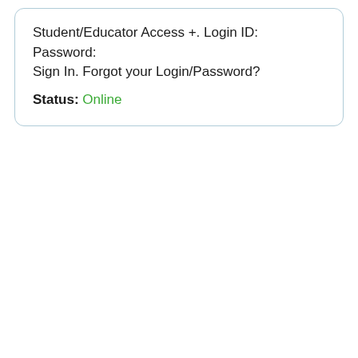Student/Educator Access +. Login ID: Password: Sign In. Forgot your Login/Password?
Status: Online